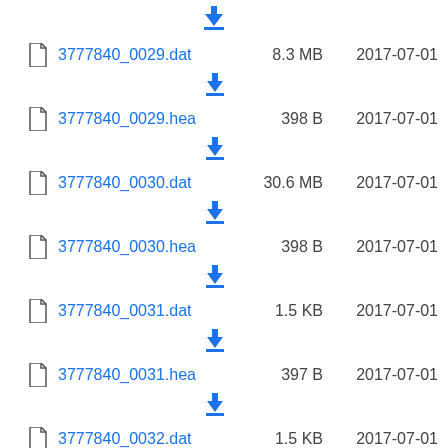3777840_0029.dat  8.3 MB  2017-07-01
3777840_0029.hea  398 B  2017-07-01
3777840_0030.dat  30.6 MB  2017-07-01
3777840_0030.hea  398 B  2017-07-01
3777840_0031.dat  1.5 KB  2017-07-01
3777840_0031.hea  397 B  2017-07-01
3777840_0032.dat  1.5 KB  2017-07-01
3777840_0032.hea